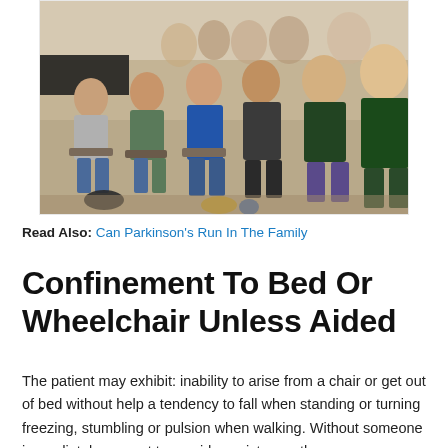[Figure (photo): Group of young people seated in rows at an event or conference, writing on clipboards or notebooks, in a large indoor hall.]
Read Also: Can Parkinson's Run In The Family
Confinement To Bed Or Wheelchair Unless Aided
The patient may exhibit: inability to arise from a chair or get out of bed without help a tendency to fall when standing or turning freezing, stumbling or pulsion when walking. Without someone immediately present to provide assistance, the